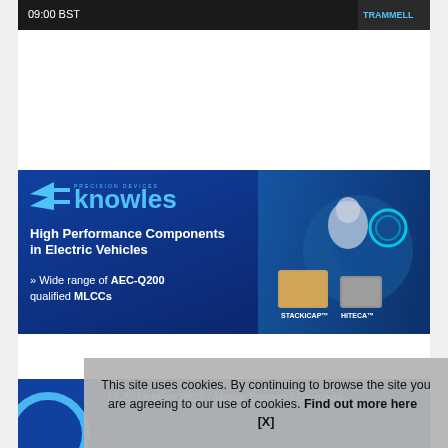[Figure (screenshot): Top banner showing '09:00 BST' text and a person thumbnail with 'TRAMMELL' label on dark background]
[Figure (advertisement): Knowles Precision Devices advertisement. Blue background with Knowles logo (two left-pointing arrows and 'knowles' text). Headline: 'High Performance Components in Electric Vehicles'. Bullet: '» Wide range of AEC-Q200 qualified MLCCs'. Right side shows EV charging robot image with two capacitor products labeled STACKICAP™ and HITECA™.]
[Figure (advertisement): Bottom banner: '19-20 October 2022 / Messe Bremen / Germany' on blue background with partial circular logo]
This site uses cookies. By continuing to browse the site you are agreeing to our use of cookies. Find out more here    [X]